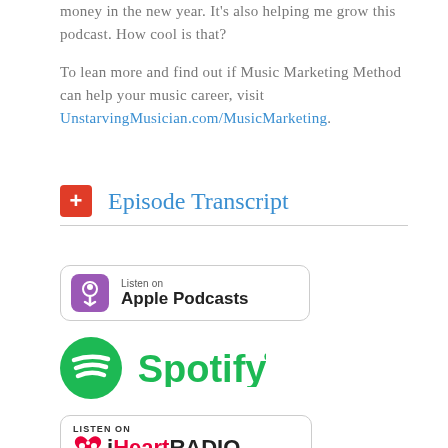money in the new year. It’s also helping me grow this podcast. How cool is that?
To lean more and find out if Music Marketing Method can help your music career, visit UnstarvingMusician.com/MusicMarketing.
+ Episode Transcript
[Figure (logo): Listen on Apple Podcasts badge]
[Figure (logo): Spotify logo]
[Figure (logo): Listen on iHeartRADIO badge (partially visible)]